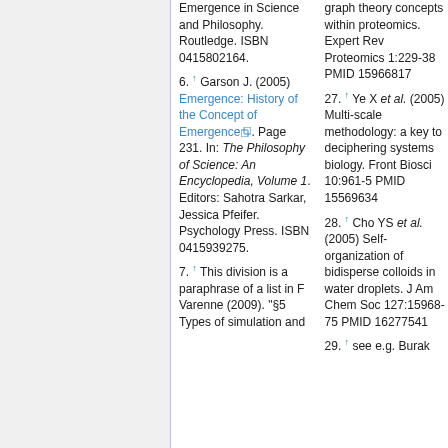Emergence in Science and Philosophy. Routledge. ISBN 0415802164.
6. ↑ Garson J. (2005) Emergence: History of the Concept of Emergence. Page 231. In: The Philosophy of Science: An Encyclopedia, Volume 1. Editors: Sahotra Sarkar, Jessica Pfeifer. Psychology Press. ISBN 0415939275.
7. ↑ This division is a paraphrase of a list in F Varenne (2009). "§5 Types of simulation and
graph theory concepts within proteomics. Expert Rev Proteomics 1:229-38 PMID 15966817
27. ↑ Ye X et al. (2005) Multi-scale methodology: a key to deciphering systems biology. Front Biosci 10:961-5 PMID 15569634
28. ↑ Cho YS et al. (2005) Self-organization of bidisperse colloids in water droplets. J Am Chem Soc 127:15968-75 PMID 16277541
29. ↑ see e.g. Burak